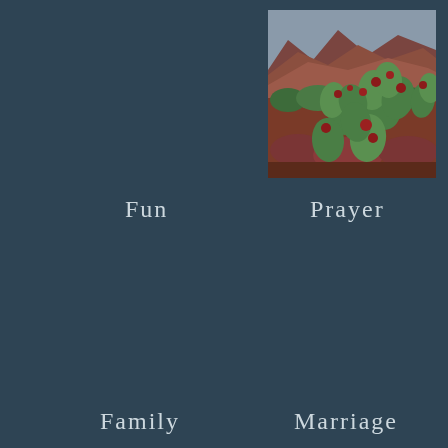[Figure (photo): Photo of prickly pear cacti with red blooms/fruit in the foreground and red rock mountains in the background under an overcast sky — likely Zion National Park area.]
Fun
Prayer
Family
Marriage